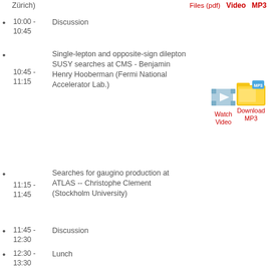Zürich)
Files (pdf)   Video   MP3
10:00 - 10:45   Discussion
10:45 - 11:15   Single-lepton and opposite-sign dilepton SUSY searches at CMS - Benjamin Henry Hooberman (Fermi National Accelerator Lab.)  [Watch Video] [Download MP3]
11:15 - 11:45   Searches for gaugino production at ATLAS -- Christophe Clement (Stockholm University)  [Presentation Files (pdf)] [Watch Video] [Download MP3]
11:45 - 12:30   Discussion
12:30 - 13:30   Lunch